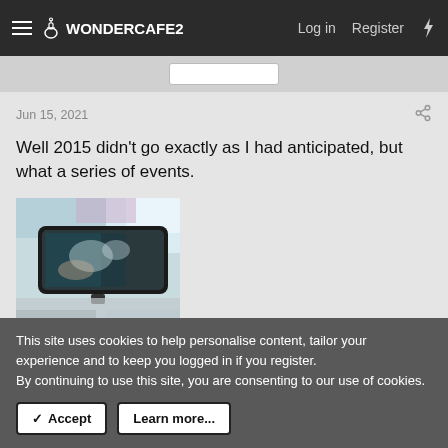WonderCafe2 — Log in  Register
Jun 15, 2021
Well 2015 didn't go exactly as I had anticipated, but what a series of events.
[Figure (photo): A car interior rearview mirror viewed from below, blurry background with light teal and white tones]
It started with work craziness and pulling more rabbits out of
This site uses cookies to help personalise content, tailor your experience and to keep you logged in if you register.
By continuing to use this site, you are consenting to our use of cookies.